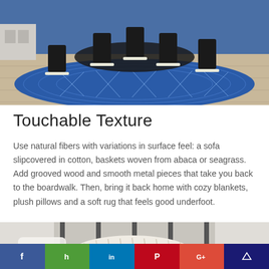[Figure (photo): Dining room with black chairs around a dark table, set on a blue geometric patterned rug on a light wood floor.]
Touchable Texture
Use natural fibers with variations in surface feel: a sofa slipcovered in cotton, baskets woven from abaca or seagrass. Add grooved wood and smooth metal pieces that take you back to the boardwalk. Then, bring it back home with cozy blankets, plush pillows and a soft rug that feels good underfoot.
[Figure (photo): Room with white curtains, a fluffy textured pillow or throw, and a cozy soft furnishing scene with a circular back-to-top button overlay.]
[Figure (other): Social sharing bar with Facebook, Houzz, LinkedIn, Pinterest, Google+, and another icon (crown/bookmark).]